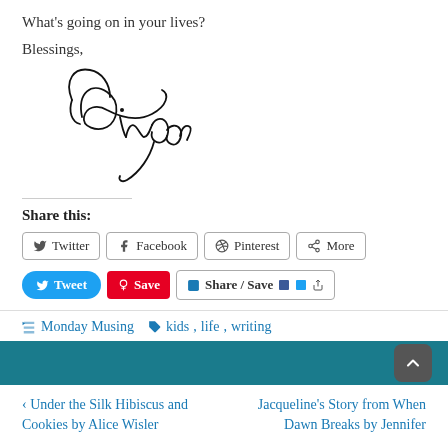What's going on in your lives?
Blessings,
[Figure (illustration): Cursive handwritten signature reading 'Ginger']
Share this:
Twitter  Facebook  Pinterest  More
Tweet  Save  Share / Save
Monday Musing  kids, life, writing
Under the Silk Hibiscus and Cookies by Alice Wisler
Jacqueline's Story from When Dawn Breaks by Jennifer